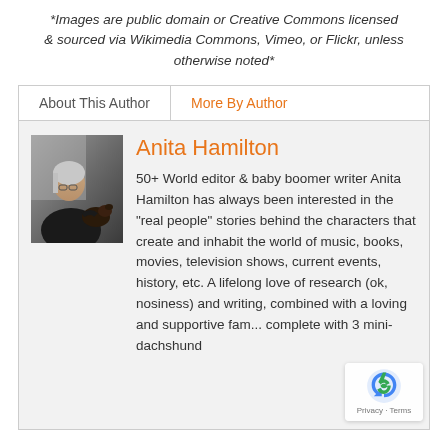*Images are public domain or Creative Commons licensed & sourced via Wikimedia Commons, Vimeo, or Flickr, unless otherwise noted*
About This Author | More By Author
[Figure (photo): Photo of Anita Hamilton holding a small dog]
Anita Hamilton
50+ World editor & baby boomer writer Anita Hamilton has always been interested in the "real people" stories behind the characters that create and inhabit the world of music, books, movies, television shows, current events, history, etc. A lifelong love of research (ok, nosiness) and writing, combined with a loving and supportive fam... complete with 3 mini-dachshund